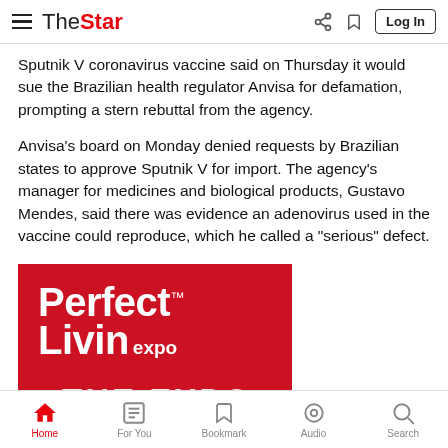The Star — Log In
Sputnik V coronavirus vaccine said on Thursday it would sue the Brazilian health regulator Anvisa for defamation, prompting a stern rebuttal from the agency.
Anvisa's board on Monday denied requests by Brazilian states to approve Sputnik V for import. The agency's manager for medicines and biological products, Gustavo Mendes, said there was evidence an adenovirus used in the vaccine could reproduce, which he called a "serious" defect.
[Figure (other): Advertisement banner for Perfect Livin expo with red background and white text]
Home | For You | Bookmark | Audio | Search